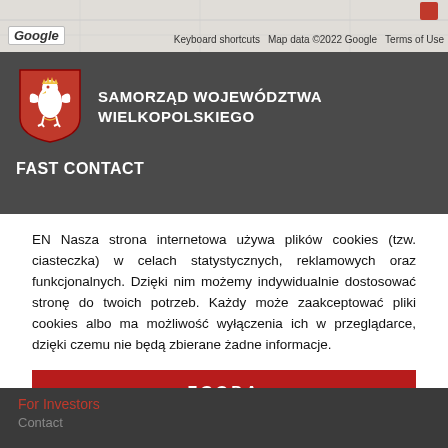[Figure (map): Google Maps background with street map view, showing road/street map with Google logo, keyboard shortcuts, map data credit, and terms of use links in the top bar]
[Figure (logo): Shield logo of Samorząd Województwa Wielkopolskiego - red heraldic shield with white eagle]
SAMORZĄD WOJEWÓDZTWA WIELKOPOLSKIEGO
FAST CONTACT
EN Nasza strona internetowa używa plików cookies (tzw. ciasteczka) w celach statystycznych, reklamowych oraz funkcjonalnych. Dzięki nim możemy indywidualnie dostosować stronę do twoich potrzeb. Każdy może zaakceptować pliki cookies albo ma możliwość wyłączenia ich w przeglądarce, dzięki czemu nie będą zbierane żadne informacje.
ZGODA
DOWIEDZ SIĘ WIĘCEJ
For Investors